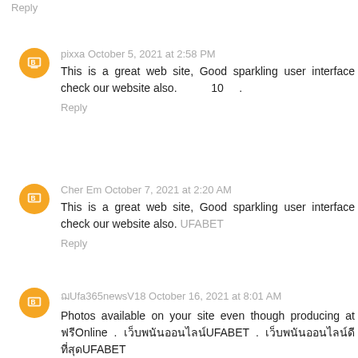Reply
pixxa October 5, 2021 at 2:58 PM
This is a great web site, Good sparkling user interface check our website also. 10 .
Reply
Cher Em October 7, 2021 at 2:20 AM
This is a great web site, Good sparkling user interface check our website also. UFABET
Reply
ชUfa365newsV18 October 16, 2021 at 8:01 AM
Photos available on your site even though producing at ฟรีOnline . เว็บพนันออนไลน์UFABET . เว็บพนันออนไลน์ดีที่สุดUFABET
Reply